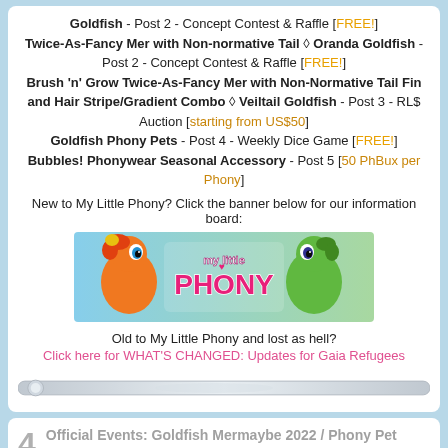Goldfish - Post 2 - Concept Contest & Raffle [FREE!] Twice-As-Fancy Mer with Non-normative Tail ◊ Oranda Goldfish - Post 2 - Concept Contest & Raffle [FREE!] Brush 'n' Grow Twice-As-Fancy Mer with Non-Normative Tail Fin and Hair Stripe/Gradient Combo ◊ Veiltail Goldfish - Post 3 - RL$ Auction [starting from US$50] Goldfish Phony Pets - Post 4 - Weekly Dice Game [FREE!] Bubbles! Phonywear Seasonal Accessory - Post 5 [50 PhBux per Phony]
New to My Little Phony? Click the banner below for our information board:
[Figure (illustration): My Little Phony banner with orange and green cartoon pony characters and pink 'my little PHONY' logo text]
Old to My Little Phony and lost as hell?
Click here for WHAT'S CHANGED: Updates for Gaia Refugees
4  Official Events: Goldfish Mermaybe 2022 / Phony Pet Goldfish Scooping - WEEKLY DICE GAME
« on: May 19, 2022, 11:17:39 AM »